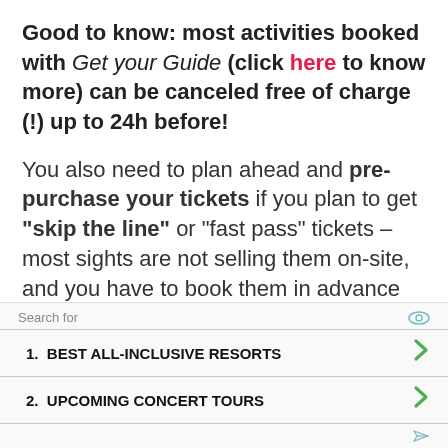Good to know: most activities booked with Get your Guide (click here to know more) can be canceled free of charge (!) up to 24h before!
You also need to plan ahead and pre-purchase your tickets if you plan to get "skip the line" or "fast pass" tickets – most sights are not selling them on-site, and you have to book them in advance with a tour
Search for
1.  BEST ALL-INCLUSIVE RESORTS
2.  UPCOMING CONCERT TOURS